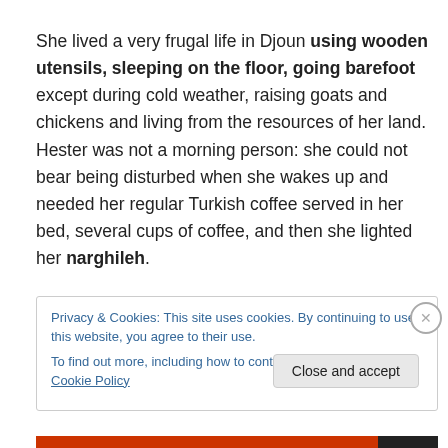She lived a very frugal life in Djoun using wooden utensils, sleeping on the floor, going barefoot except during cold weather, raising goats and chickens and living from the resources of her land.  Hester was not a morning person: she could not bear being disturbed when she wakes up and needed her regular Turkish coffee served in her bed, several cups of coffee, and then she lighted her narghileh.
Privacy & Cookies: This site uses cookies. By continuing to use this website, you agree to their use.
To find out more, including how to control cookies, see here: Cookie Policy